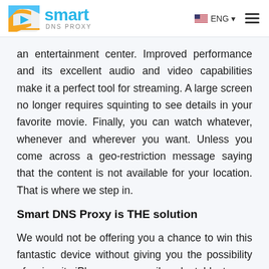Smart DNS Proxy | ENG
an entertainment center. Improved performance and its excellent audio and video capabilities make it a perfect tool for streaming. A large screen no longer requires squinting to see details in your favorite movie. Finally, you can watch whatever, whenever and wherever you want. Unless you come across a geo-restriction message saying that the content is not available for your location. That is where we step in.
Smart DNS Proxy is THE solution
We would not be offering you a chance to win this fantastic device without giving you the possibility of using it. iPhones are easily adaptable to our state-of-the-art Smart DNS and VPN technologies that